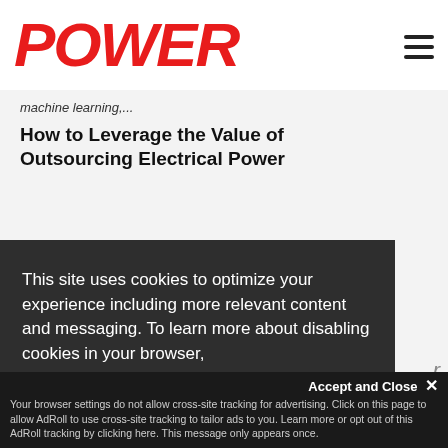POWER
machine learning,...
How to Leverage the Value of Outsourcing Electrical Power
This site uses cookies to optimize your experience including more relevant content and messaging. To learn more about disabling cookies in your browser, click here. By continuing to use this site, you accept our use of cookies. For more information, view our updated Privacy Policy.
I Consent
Accept and Close ✕
Your browser settings do not allow cross-site tracking for advertising. Click on this page to allow AdRoll to use cross-site tracking to tailor ads to you. Learn more or opt out of this AdRoll tracking by clicking here. This message only appears once.